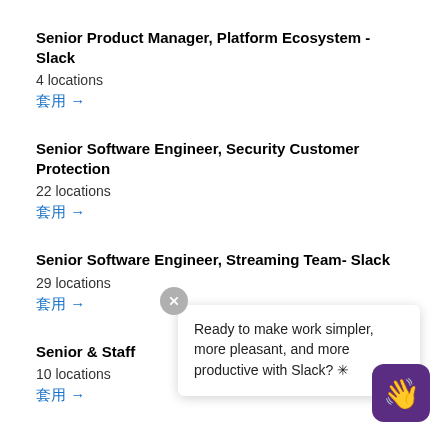Senior Product Manager, Platform Ecosystem - Slack
4 locations
套用 →
Senior Software Engineer, Security Customer Protection
22 locations
套用 →
Senior Software Engineer, Streaming Team- Slack
29 locations
套用 →
Senior & Staff...
10 locations
套用 →
Ready to make work simpler, more pleasant, and more productive with Slack? ✳